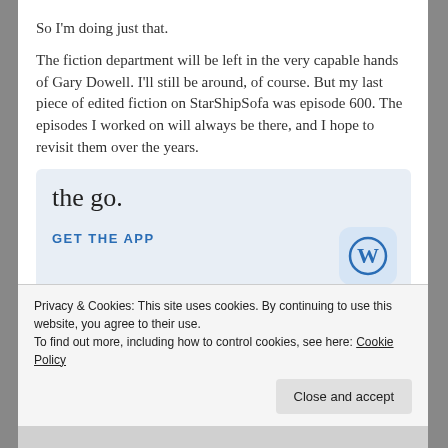So I'm doing just that.
The fiction department will be left in the very capable hands of Gary Dowell. I'll still be around, of course. But my last piece of edited fiction on StarShipSofa was episode 600. The episodes I worked on will always be there, and I hope to revisit them over the years.
[Figure (other): WordPress mobile app advertisement with text 'the go.' and 'GET THE APP' call-to-action, WordPress logo icon on right]
Privacy & Cookies: This site uses cookies. By continuing to use this website, you agree to their use.
To find out more, including how to control cookies, see here: Cookie Policy
Close and accept